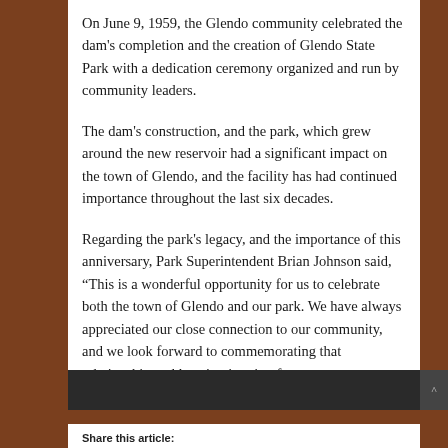On June 9, 1959, the Glendo community celebrated the dam's completion and the creation of Glendo State Park with a dedication ceremony organized and run by community leaders.
The dam's construction, and the park, which grew around the new reservoir had a significant impact on the town of Glendo, and the facility has had continued importance throughout the last six decades.
Regarding the park's legacy, and the importance of this anniversary, Park Superintendent Brian Johnson said, “This is a wonderful opportunity for us to celebrate both the town of Glendo and our park. We have always appreciated our close connection to our community, and we look forward to commemorating that relationship and keeping it going for many more years.”
Share this article: